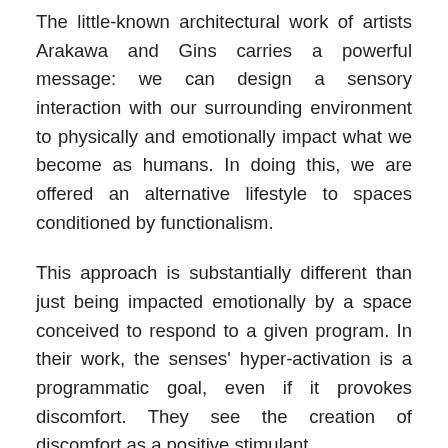The little-known architectural work of artists Arakawa and Gins carries a powerful message: we can design a sensory interaction with our surrounding environment to physically and emotionally impact what we become as humans. In doing this, we are offered an alternative lifestyle to spaces conditioned by functionalism.
This approach is substantially different than just being impacted emotionally by a space conceived to respond to a given program. In their work, the senses' hyper-activation is a programmatic goal, even if it provokes discomfort. They see the creation of discomfort as a positive stimulant.
Arakawa and Gins investigate the body-environment relationship by producing situations that dismantle and allow reconfiguration of sensing, perception, and comprehension. They call this approach “procedural architecture.”